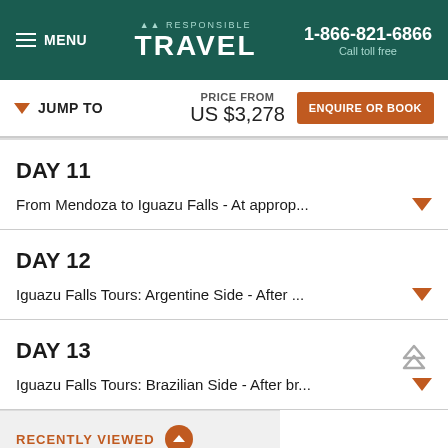MENU | RESPONSIBLE TRAVEL | 1-866-821-6866 Call toll free
JUMP TO | PRICE FROM US $3,278 | ENQUIRE OR BOOK
DAY 11
From Mendoza to Iguazu Falls - At approp...
DAY 12
Iguazu Falls Tours: Argentine Side - After ...
DAY 13
Iguazu Falls Tours: Brazilian Side - After br...
RECENTLY VIEWED
Airpo... Ittati...